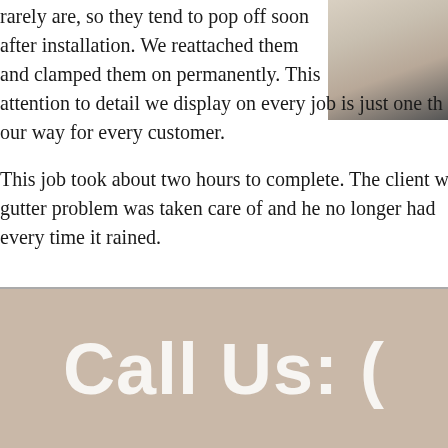rarely are, so they tend to pop off soon after installation. We reattached them and clamped them on permanently. This attention to detail we display on every job is just one thing we go out of our way for every customer.
[Figure (photo): Photo of gutters or house exterior, partially visible in top-right corner]
This job took about two hours to complete. The client was happy that his gutter problem was taken care of and he no longer had to worry every time it rained.
Call Us: (phone number)